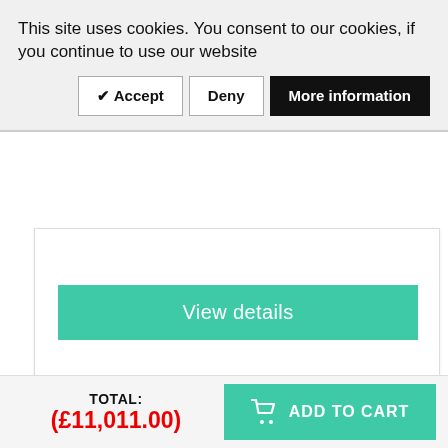This site uses cookies. You consent to our cookies, if you continue to use our website
[Figure (screenshot): Cookie consent buttons: Accept, Deny, More information]
[Figure (screenshot): White card area with View details teal button]
[Figure (photo): Wood texture image, light blonde natural wood grain]
TOTAL:
(£11,011.00)
[Figure (screenshot): ADD TO CART button with shopping cart icon on teal background]